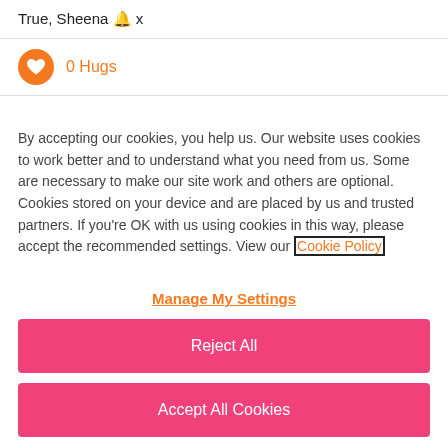True, Sheena 🔔 x
0 Hugs
By accepting our cookies, you help us. Our website uses cookies to work better and to understand what you need from us. Some are necessary to make our site work and others are optional. Cookies stored on your device and are placed by us and trusted partners. If you're OK with us using cookies in this way, please accept the recommended settings. View our Cookie Policy
Manage My Settings
Reject All
Accept All Cookies